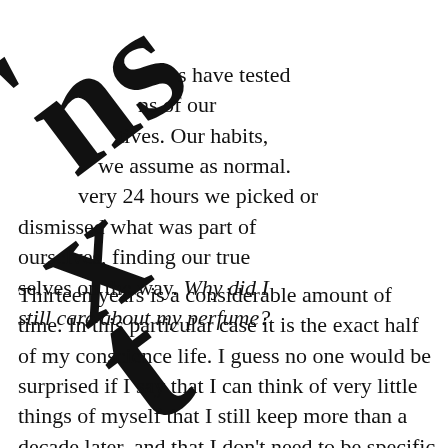[Figure (other): Large rotated black letters overlaid on the top-left of the page, showing partial characters including quotation mark, 'n', 's', 'x', 't' in a large bold serif font rotated approximately -37 degrees]
s have tested ns of our tives. Our habits, we assume as normal. very 24 hours we picked or dismissed what was part of ourselves, finding our true selves on the way. Why did I still care about my perfume?
Thirteen years is a considerable amount of time. In this particular case it is the exact half of my conscience life. I guess no one would be surprised if I say that I can think of very little things of myself that I still keep more than a decade later, and that I don't need to be specific explaining the